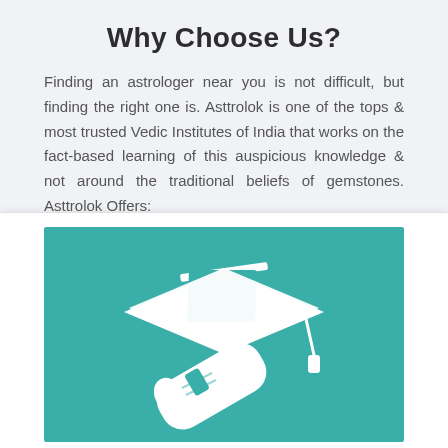Why Choose Us?
Finding an astrologer near you is not difficult, but finding the right one is. Asttrolok is one of the tops & most trusted Vedic Institutes of India that works on the fact-based learning of this auspicious knowledge & not around the traditional beliefs of gemstones. Asttrolok Offers:
[Figure (illustration): White graduation cap and diploma scroll icon on a teal/green background]